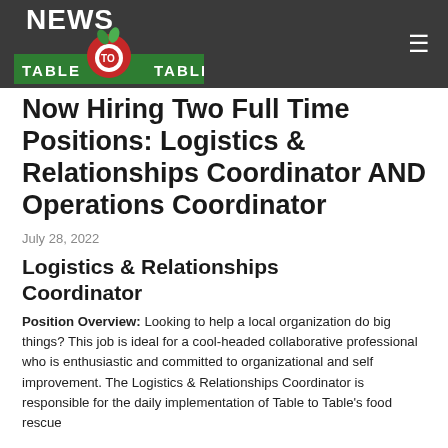NEWS
[Figure (logo): Table to Table logo: red heart-shaped apple with green leaves and the text TABLE TO TABLE in green, with a green banner beneath]
Now Hiring Two Full Time Positions: Logistics & Relationships Coordinator AND Operations Coordinator
July 28, 2022
Logistics & Relationships Coordinator
Position Overview: Looking to help a local organization do big things? This job is ideal for a cool-headed collaborative professional who is enthusiastic and committed to organizational and self improvement. The Logistics & Relationships Coordinator is responsible for the daily implementation of Table to Table's food rescue